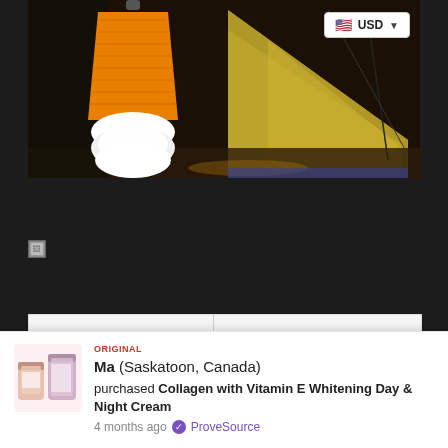[Figure (photo): Product photo showing an orange LED camping lamp bulb in front of a yellow tent at night, with a USD currency selector badge overlaid in the top right corner]
[Figure (photo): Broken/unloaded image icon (small square with torn image symbol)]
[Figure (photo): White card area with two blank image panels divided by a vertical line]
Ma (Saskatoon, Canada) purchased Collagen with Vitamin E Whitening Day & Night Cream 4 months ago ✓ ProveSource